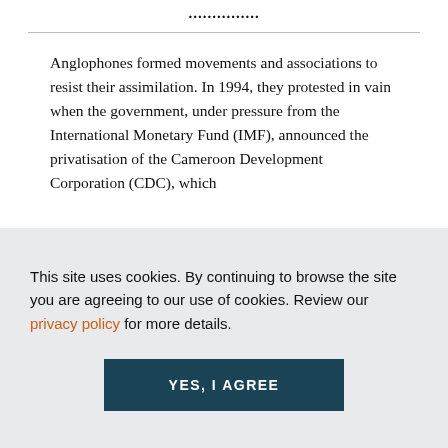...............
Anglophones formed movements and associations to resist their assimilation. In 1994, they protested in vain when the government, under pressure from the International Monetary Fund (IMF), announced the privatisation of the Cameroon Development Corporation (CDC), which
This site uses cookies. By continuing to browse the site you are agreeing to our use of cookies. Review our privacy policy for more details.
YES, I AGREE